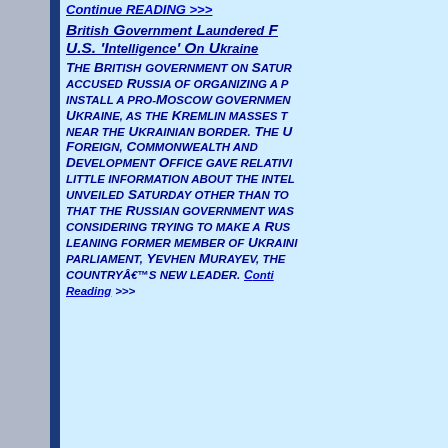Continue reading >>>
British Government Laundered F... U.S. 'Intelligence' On Ukraine
The British government on Satur... accused Russia of organizing a p... install a pro-Moscow governmen... Ukraine, as the Kremlin masses t... near the Ukrainian border. The U... Foreign, Commonwealth and Development Office gave relativi... little information about the intel... unveiled Saturday other than to ... that the Russian government was... considering trying to make a Rus... leaning former member of Ukrain... parliament, Yevhen Murayev, the... countryâ€™s new leader. Continue reading >>>